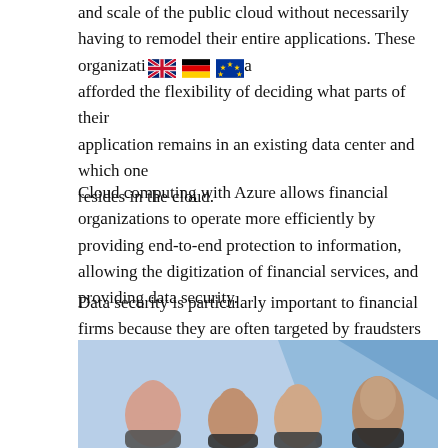and scale of the public cloud without necessarily having to remodel their entire applications. These organizations are afforded the flexibility of deciding what parts of their application remains in an existing data center and which one resides in the cloud.
Cloud computing with Azure allows financial organizations to operate more efficiently by providing end-to-end protection to information, allowing the digitization of financial services, and providing data security.
Data security is particularly important to financial firms because they are often targeted by fraudsters and cyber threats. They, therefore, need to protect crucial information which they achieve by authenticating their data centers using Azure.
Here’s why financial companies cannot think of doing without Azure’s hybrid cloud computing even for just a day.
[Figure (photo): Group of professionals in an office environment with Azure branding in the background]